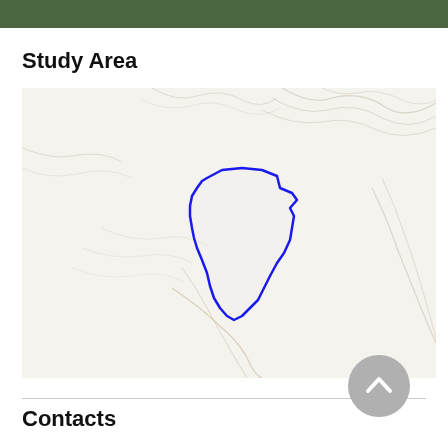Study Area
[Figure (map): Topographic map showing a study area outlined in blue, depicting a watershed or basin boundary in a mountainous terrain with shaded relief. The outlined region is irregular in shape, located roughly in the center-left of the map.]
Contacts